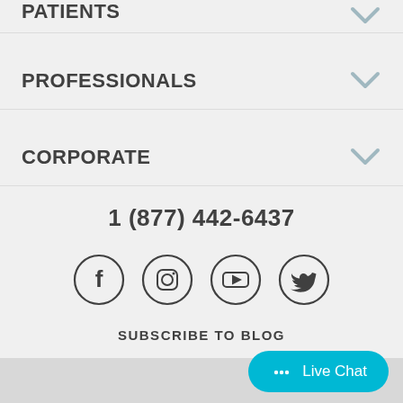PATIENTS
PROFESSIONALS
CORPORATE
1 (877) 442-6437
[Figure (illustration): Four social media icons in circles: Facebook, Instagram, YouTube, Twitter]
SUBSCRIBE TO BLOG
Live Chat